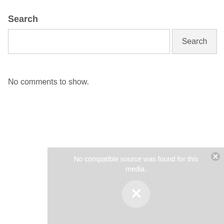Search
[Figure (screenshot): Search input field with a Search button on the right]
No comments to show.
[Figure (screenshot): Video player error state showing 'No compatible source was found for this media.' with an X icon and a close button in the top right corner]